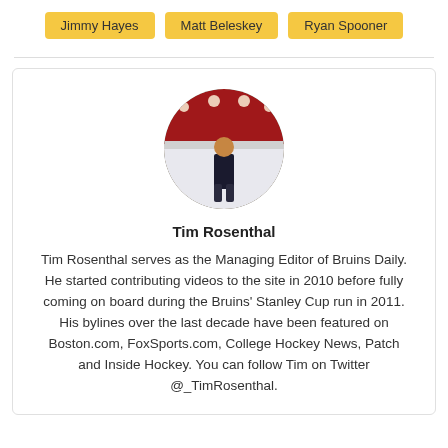Jimmy Hayes
Matt Beleskey
Ryan Spooner
[Figure (photo): Circular profile photo of Tim Rosenthal standing on a hockey rink]
Tim Rosenthal
Tim Rosenthal serves as the Managing Editor of Bruins Daily. He started contributing videos to the site in 2010 before fully coming on board during the Bruins' Stanley Cup run in 2011. His bylines over the last decade have been featured on Boston.com, FoxSports.com, College Hockey News, Patch and Inside Hockey. You can follow Tim on Twitter @_TimRosenthal.